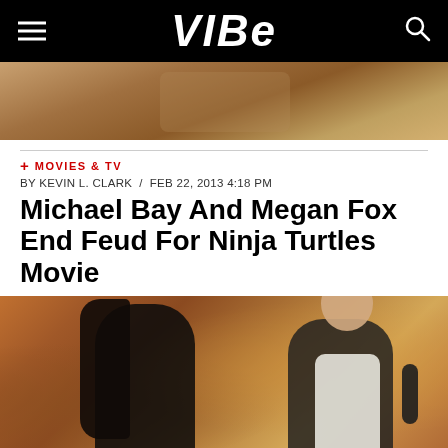VIBE
[Figure (photo): Partial photo at top of page, warm brownish tones]
+ MOVIES & TV
BY KEVIN L. CLARK / FEB 22, 2013 4:18 PM
Michael Bay And Megan Fox End Feud For Ninja Turtles Movie
[Figure (photo): Photo of Megan Fox and Michael Bay together at an event, with colorful background]